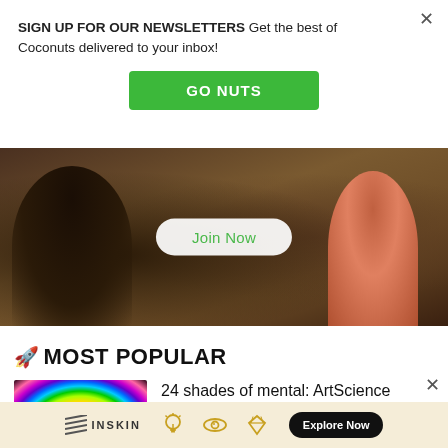SIGN UP FOR OUR NEWSLETTERS Get the best of Coconuts delivered to your inbox!
GO NUTS
[Figure (photo): Banner image showing people at an event with a Join Now button overlay]
🚀 MOST POPULAR
24 shades of mental: ArtScience Museum turns mental health colorful in new exhibit
[Figure (infographic): Bottom ad bar with Inskin logo, icons, and Explore Now button]